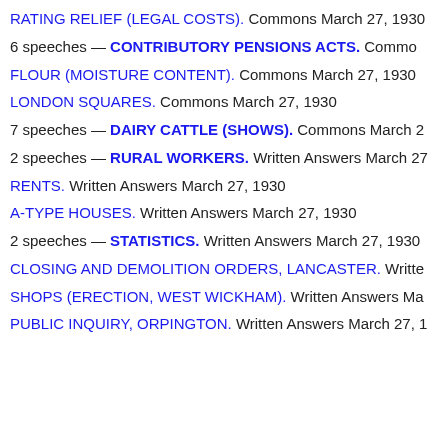RATING RELIEF (LEGAL COSTS). Commons March 27, 1930
6 speeches — CONTRIBUTORY PENSIONS ACTS. Commons March…
FLOUR (MOISTURE CONTENT). Commons March 27, 1930
LONDON SQUARES. Commons March 27, 1930
7 speeches — DAIRY CATTLE (SHOWS). Commons March 2…
2 speeches — RURAL WORKERS. Written Answers March 27…
RENTS. Written Answers March 27, 1930
A-TYPE HOUSES. Written Answers March 27, 1930
2 speeches — STATISTICS. Written Answers March 27, 1930
CLOSING AND DEMOLITION ORDERS, LANCASTER. Written…
SHOPS (ERECTION, WEST WICKHAM). Written Answers Ma…
PUBLIC INQUIRY, ORPINGTON. Written Answers March 27, 1…